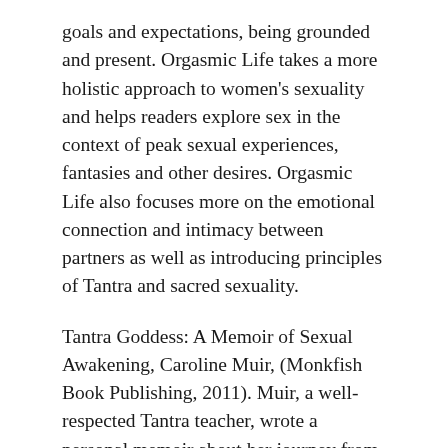goals and expectations, being grounded and present. Orgasmic Life takes a more holistic approach to women's sexuality and helps readers explore sex in the context of peak sexual experiences, fantasies and other desires. Orgasmic Life also focuses more on the emotional connection and intimacy between partners as well as introducing principles of Tantra and sacred sexuality.
Tantra Goddess: A Memoir of Sexual Awakening, Caroline Muir, (Monkfish Book Publishing, 2011). Muir, a well-respected Tantra teacher, wrote a personal memoir about her journey from innocent Kansas girl to skilled sexual and spiritual healer and leader. She chronicles her life, her lovers, and her quest for ever-lasting love. This “tell all” book is a juicy and fun read, especially for those who have been in Muir’s circles. The Orgasmic Life author, unlike Muir, experiences sexual awakening from a place of being sexually disconnected, after a 20-year sexless marriage. Her journey is unique, in that she came from the corporate world, and did not experience sexual